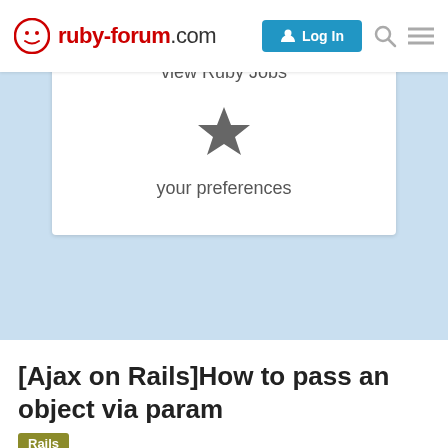ruby-forum.com | Log In
view Ruby Jobs
[Figure (illustration): Star icon representing user preferences]
your preferences
[Ajax on Rails]How to pass an object via param
Rails
denommus   Jan '10